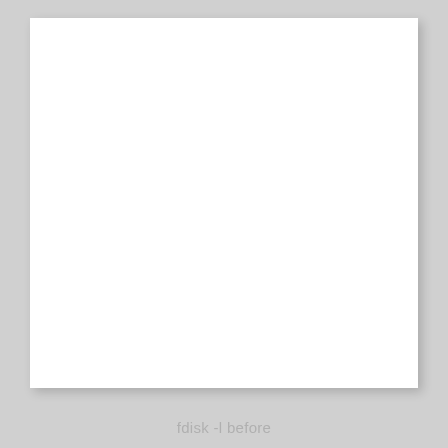[Figure (screenshot): A mostly blank white document page with no visible content, representing the state before fdisk -l command output.]
fdisk -l before